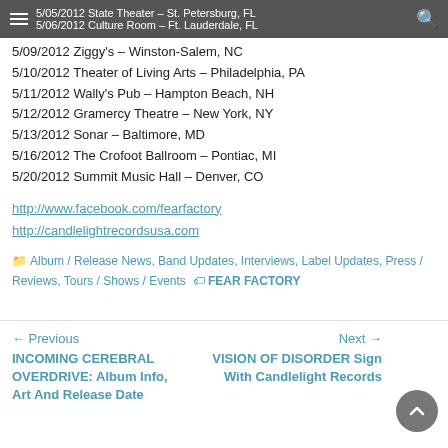5/05/2012 State Theater – St. Petersburg, FL   5/06/2012 Culture Room – Ft. Lauderdale, FL
5/09/2012 Ziggy's – Winston-Salem, NC
5/10/2012 Theater of Living Arts – Philadelphia, PA
5/11/2012 Wally's Pub – Hampton Beach, NH
5/12/2012 Gramercy Theatre – New York, NY
5/13/2012 Sonar – Baltimore, MD
5/16/2012 The Crofoot Ballroom – Pontiac, MI
5/20/2012 Summit Music Hall – Denver, CO
http://www.facebook.com/fearfactory
http://candlelightrecordsusa.com
Album / Release News, Band Updates, Interviews, Label Updates, Press / Reviews, Tours / Shows / Events  FEAR FACTORY
← Previous
INCOMING CEREBRAL OVERDRIVE: Album Info, Art And Release Date
Next →
VISION OF DISORDER Sign With Candlelight Records